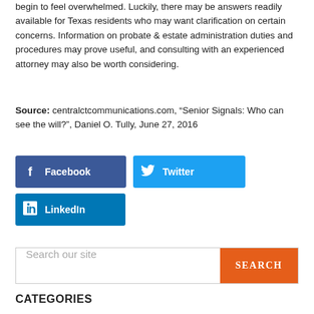begin to feel overwhelmed. Luckily, there may be answers readily available for Texas residents who may want clarification on certain concerns. Information on probate & estate administration duties and procedures may prove useful, and consulting with an experienced attorney may also be worth considering.
Source: centralctcommunications.com, “Senior Signals: Who can see the will?”, Daniel O. Tully, June 27, 2016
[Figure (other): Social sharing buttons: Facebook (dark blue), Twitter (light blue), LinkedIn (blue)]
[Figure (other): Search bar with text 'Search our site' and an orange SEARCH button]
CATEGORIES